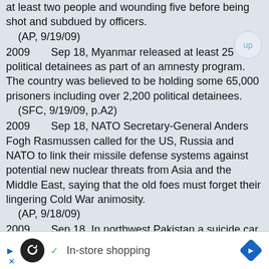at least two people and wounding five before being shot and subdued by officers. (AP, 9/19/09)
2009 Sep 18, Myanmar released at least 25 political detainees as part of an amnesty program. The country was believed to be holding some 65,000 prisoners including over 2,200 political detainees. (SFC, 9/19/09, p.A2)
2009 Sep 18, NATO Secretary-General Anders Fogh Rasmussen called for the US, Russia and NATO to link their missile defense systems against potential new nuclear threats from Asia and the Middle East, saying that the old foes must forget their lingering Cold War animosity. (AP, 9/18/09)
2009 Sep 18, In northwest Pakistan a suicide car bomb destroyed a 2-story hotel at a market in Usterzai, a small mainly Shiite town, killing over 30 people and trapping victims under smashed shops as families bought supplies for a major religious festival
[Figure (other): Advertisement bar at bottom: loop icon, checkmark, 'In-store shopping' text, blue diamond navigation icon]